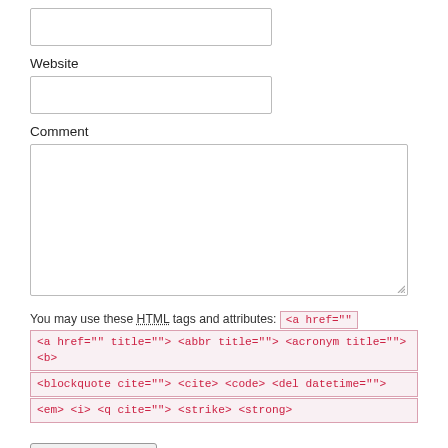Website
Comment
You may use these HTML tags and attributes: <a href="" title=""> <abbr title=""> <acronym title=""> <b> <blockquote cite=""> <cite> <code> <del datetime=""> <em> <i> <q cite=""> <strike> <strong>
Post Comment